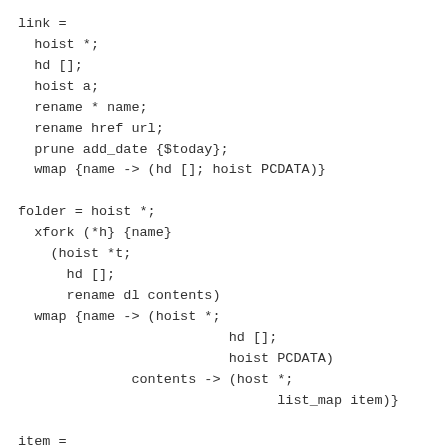link =
  hoist *;
  hd [];
  hoist a;
  rename * name;
  rename href url;
  prune add_date {$today};
  wmap {name -> (hd []; hoist PCDATA)}

folder = hoist *;
  xfork (*h} {name}
    (hoist *t;
      hd [];
      rename dl contents)
  wmap {name -> (hoist *;
                          hd [];
                          hoist PCDATA)
              contents -> (host *;
                                list_map item)}

item =
  wmap {dd -> folder, dt -> link};
  rename_if_present dd folder;
  rename_if_present dt link

bookmarks =
  hoist hd []